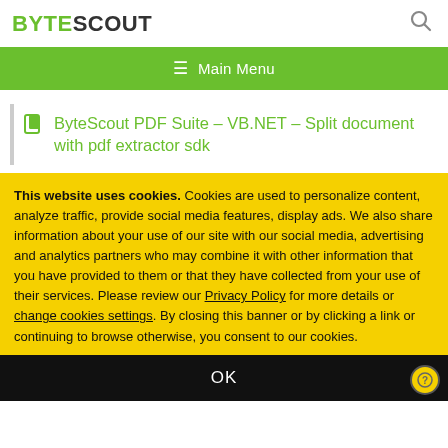BYTESCOUT
ByteScout PDF Suite – VB.NET – Split document with pdf extractor sdk
This website uses cookies. Cookies are used to personalize content, analyze traffic, provide social media features, display ads. We also share information about your use of our site with our social media, advertising and analytics partners who may combine it with other information that you have provided to them or that they have collected from your use of their services. Please review our Privacy Policy for more details or change cookies settings. By closing this banner or by clicking a link or continuing to browse otherwise, you consent to our cookies.
OK